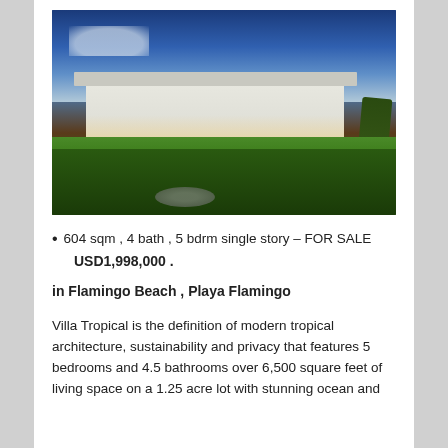[Figure (photo): Exterior night/dusk photo of a modern tropical villa with large glass facade illuminated from within, surrounded by lush tropical vegetation, palm trees, and a manicured lawn. Blue evening sky with clouds in the background.]
604 sqm , 4 bath , 5 bdrm single story – FOR SALE USD1,998,000 .
in Flamingo Beach , Playa Flamingo
Villa Tropical is the definition of modern tropical architecture, sustainability and privacy that features 5 bedrooms and 4.5 bathrooms over 6,500 square feet of living space on a 1.25 acre lot with stunning ocean and